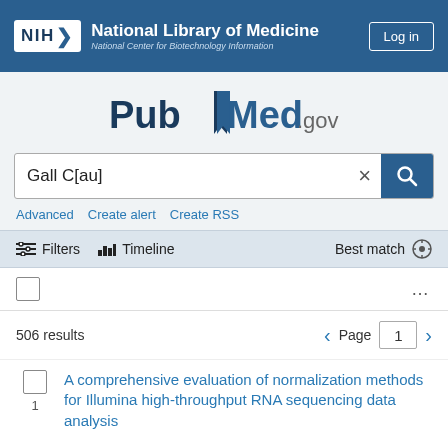[Figure (logo): NIH National Library of Medicine / National Center for Biotechnology Information header logo with Log in button]
[Figure (logo): PubMed.gov logo]
Gall C[au]
Advanced   Create alert   Create RSS
Filters   Timeline   Best match
506 results   Page 1
A comprehensive evaluation of normalization methods for Illumina high-throughput RNA sequencing data analysis